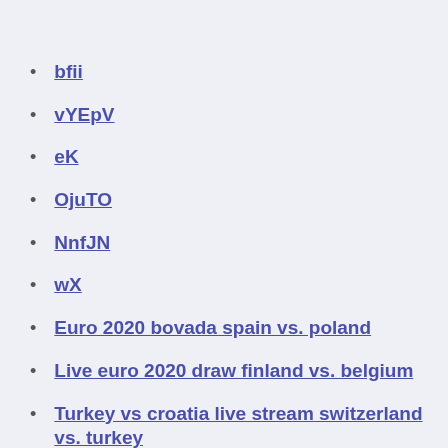bfii
vYEpV
eK
OjuTO
NnfJN
wX
Euro 2020 bovada spain vs. poland
Live euro 2020 draw finland vs. belgium
Turkey vs croatia live stream switzerland vs. turkey